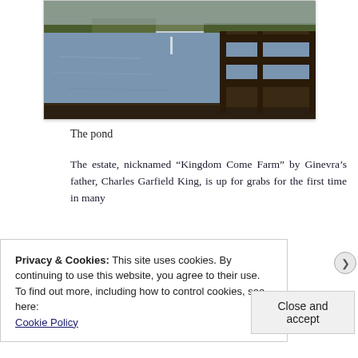[Figure (photo): Photograph of a pond with a wooden dock/railing in the foreground right, calm water reflecting the sky, trees in the background.]
The pond
The estate, nicknamed “Kingdom Come Farm” by Ginevra’s father, Charles Garfield King, is up for grabs for the first time in many
Privacy & Cookies: This site uses cookies. By continuing to use this website, you agree to their use.
To find out more, including how to control cookies, see here:
Cookie Policy
Close and accept